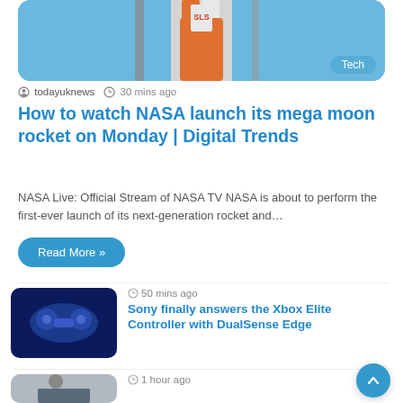[Figure (photo): NASA rocket on launch pad against blue sky, with 'Tech' badge in bottom right corner]
todayuknews  30 mins ago
How to watch NASA launch its mega moon rocket on Monday | Digital Trends
NASA Live: Official Stream of NASA TV NASA is about to perform the first-ever launch of its next-generation rocket and…
Read More »
50 mins ago
[Figure (photo): PlayStation DualSense Edge controller floating against dark blue background]
Sony finally answers the Xbox Elite Controller with DualSense Edge
1 hour ago
[Figure (photo): Person wearing a mask holding their head, appearing stressed]
Why Do Women Respond Differently Than Men to Depression Treatments?
2 hours ago
[Figure (photo): Forest/nature scene with small tech device]
Acer's Vero 514 brings its 'eco…